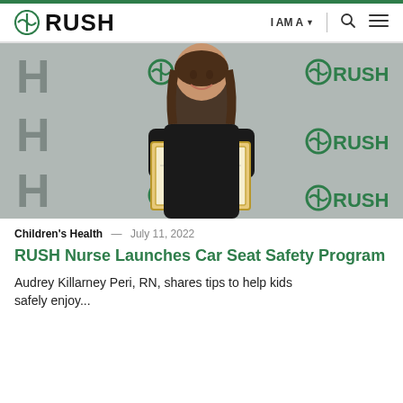RUSH | I AM A | [search] [menu]
[Figure (photo): Woman smiling and holding a Certificate of Achievement, standing in front of a RUSH branded backdrop with the RUSH logo repeated in green and black.]
Children's Health — July 11, 2022
RUSH Nurse Launches Car Seat Safety Program
Audrey Killarney Peri, RN, shares tips to help kids safely enjoy...